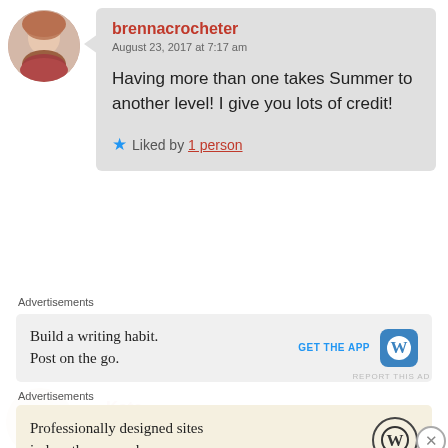brennacrocheter
August 23, 2017 at 7:17 am
Having more than one takes Summer to another level! I give you lots of credit!
Liked by 1 person
Advertisements
[Figure (screenshot): WordPress advertisement: Build a writing habit. Post on the go. GET THE APP with WordPress logo]
REPORT THIS AD
Kate
August 22, 2017 at 9:00 pm
Advertisements
[Figure (screenshot): WordPress advertisement: Professionally designed sites in less than a week with WordPress logo]